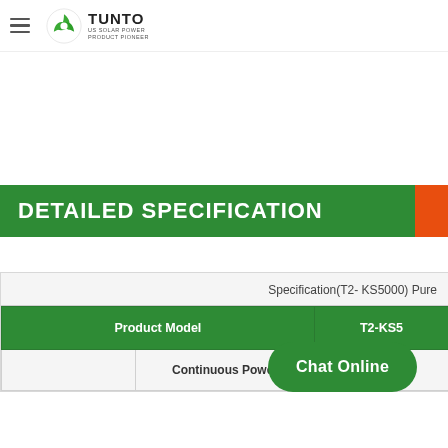TUNTO — US SOLAR POWER PRODUCT PIONEER
DETAILED SPECIFICATION
|  | Specification(T2- KS5000) Pure... | T2-KS5... |
| --- | --- | --- |
| Product Model |  | T2-KS5... |
|  | Continuous Power |  |
Chat Online